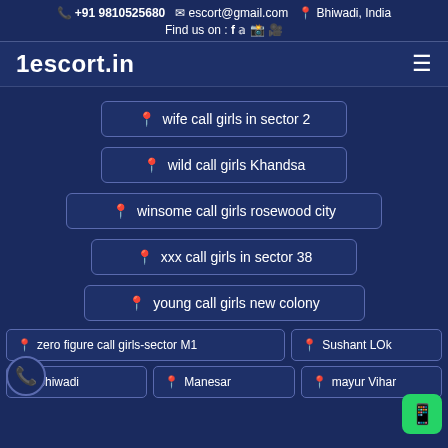+91 9810525680  escort@gmail.com  Bhiwadi, India  Find us on : [social icons]
1escort.in
wife call girls in sector 2
wild call girls Khandsa
winsome call girls rosewood city
xxx call girls in sector 38
young call girls new colony
zero figure call girls-sector M1
Sushant LOk
Bhiwadi
Manesar
mayur Vihar